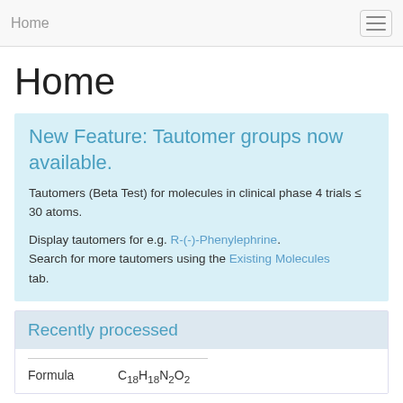Home
Home
New Feature: Tautomer groups now available.
Tautomers (Beta Test) for molecules in clinical phase 4 trials ≤ 30 atoms.
Display tautomers for e.g. R-(-)-Phenylephrine. Search for more tautomers using the Existing Molecules tab.
Recently processed
Formula    C18H18N2O2